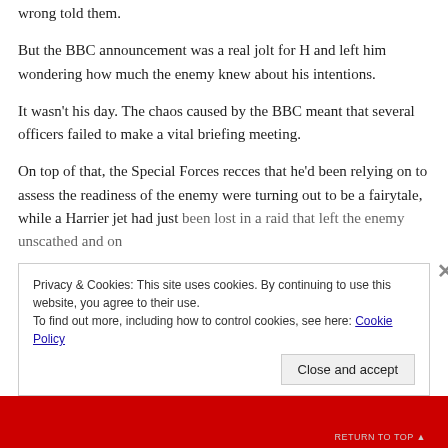wrong told them.
But the BBC announcement was a real jolt for H and left him wondering how much the enemy knew about his intentions.
It wasn't his day. The chaos caused by the BBC meant that several officers failed to make a vital briefing meeting.
On top of that, the Special Forces recces that he'd been relying on to assess the readiness of the enemy were turning out to be a fairytale, while a Harrier jet had just been lost in a raid that left the enemy unscathed and on
Privacy & Cookies: This site uses cookies. By continuing to use this website, you agree to their use.
To find out more, including how to control cookies, see here: Cookie Policy
Close and accept